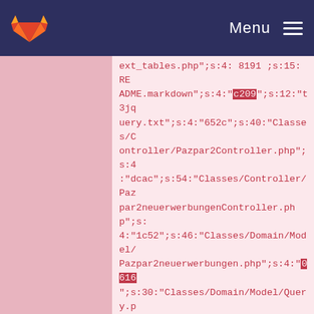Menu
ext_tables.php";s:4: 8191 ;s:15: README.markdown";s:4:"c209";s:12:"t3jquery.txt";s:4:"652c";s:40:"Classes/Controller/Pazpar2Controller.php";s:4:"dcac";s:54:"Classes/Controller/Pazpar2neuerwerbungenController.php";s:4:"1c52";s:46:"Classes/Domain/Model/Pazpar2neuerwerbungen.php";s:4:"0616";s:30:"Classes/Domain/Model/Query.php";s:4:"d3b0";s:28:"Classes/Service/Flexform.php";s:4:"4a0e";s:40:"Classes/ViewHelpers/ResultViewHelper.php";s:4:"9c9d";s:35:"Configuration/FlexForms/Pazpar2.xml";s:4:"0117";s:38:"Configuration/TypoScript/constants.txt";s:4:"1712";s:34:"Configuration/TypoScript/setup.txt";s:4:"d1a3";s:49:"Resources/Private/Language/locallang-flexform.xml";s:4:"e01c";s:40:"Resou